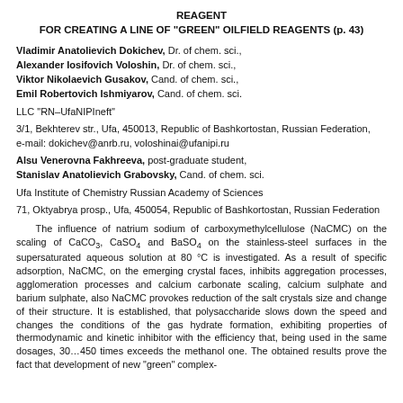FOR CREATING A LINE OF "GREEN" OILFIELD REAGENTS (p. 43)
Vladimir Anatolievich Dokichev, Dr. of chem. sci., Alexander Iosifovich Voloshin, Dr. of chem. sci., Viktor Nikolaevich Gusakov, Cand. of chem. sci., Emil Robertovich Ishmiyarov, Cand. of chem. sci.
LLC "RN–UfaNIPIneft"
3/1, Bekhterev str., Ufa, 450013, Republic of Bashkortostan, Russian Federation, e-mail: dokichev@anrb.ru, voloshinai@ufanipi.ru
Alsu Venerovna Fakhreeva, post-graduate student, Stanislav Anatolievich Grabovsky, Cand. of chem. sci.
Ufa Institute of Chemistry Russian Academy of Sciences
71, Oktyabrya prosp., Ufa, 450054, Republic of Bashkortostan, Russian Federation
The influence of natrium sodium of carboxymethylcellulose (NaCMC) on the scaling of CaCO3, CaSO4 and BaSO4 on the stainless-steel surfaces in the supersaturated aqueous solution at 80 °C is investigated. As a result of specific adsorption, NaCMC, on the emerging crystal faces, inhibits aggregation processes, agglomeration processes and calcium carbonate scaling, calcium sulphate and barium sulphate, also NaCMC provokes reduction of the salt crystals size and change of their structure. It is established, that polysaccharide slows down the speed and changes the conditions of the gas hydrate formation, exhibiting properties of thermodynamic and kinetic inhibitor with the efficiency that, being used in the same dosages, 30...450 times exceeds the methanol one. The obtained results prove the fact that development of new "green" complex-